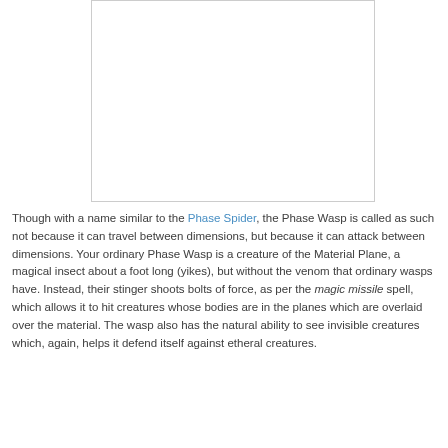[Figure (photo): White/blank image placeholder box]
Though with a name similar to the Phase Spider, the Phase Wasp is called as such not because it can travel between dimensions, but because it can attack between dimensions. Your ordinary Phase Wasp is a creature of the Material Plane, a magical insect about a foot long (yikes), but without the venom that ordinary wasps have. Instead, their stinger shoots bolts of force, as per the magic missile spell, which allows it to hit creatures whose bodies are in the planes which are overlaid over the material. The wasp also has the natural ability to see invisible creatures which, again, helps it defend itself against etheral creatures.